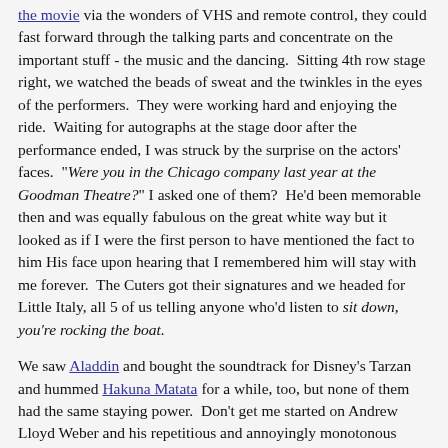the movie via the wonders of VHS and remote control, they could fast forward through the talking parts and concentrate on the important stuff - the music and the dancing.  Sitting 4th row stage right, we watched the beads of sweat and the twinkles in the eyes of the performers.  They were working hard and enjoying the ride.  Waiting for autographs at the stage door after the performance ended, I was struck by the surprise on the actors' faces.  "Were you in the Chicago company last year at the Goodman Theatre?" I asked one of them?  He'd been memorable then and was equally fabulous on the great white way but it looked as if I were the first person to have mentioned the fact to him His face upon hearing that I remembered him will stay with me forever.  The Cuters got their signatures and we headed for Little Italy, all 5 of us telling anyone who'd listen to sit down, you're rocking the boat.
We saw Aladdin and bought the soundtrack for Disney's Tarzan and hummed Hakuna Matata for a while, too, but none of them had the same staying power.  Don't get me started on Andrew Lloyd Weber and his repetitious and annoyingly monotonous oeuvre.  Just ask the Little Cuter.  After watching Phantom of the Opera with me from the balcony of the Geary Theatre in San Francisco, she was asked for her opinion by two elderly ladies behind us. "How the heck do I describe it? Like Guns and Dolls and...